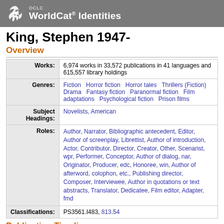OCLC WorldCat Identities
King, Stephen 1947-
Overview
| Field | Value |
| --- | --- |
| Works: | 6,974 works in 33,572 publications in 41 languages and 615,557 library holdings |
| Genres: | Fiction  Horror fiction  Horror tales  Thrillers (Fiction)  Drama  Fantasy fiction  Paranormal fiction  Film adaptations  Psychological fiction  Prison films |
| Subject Headings: | Novelists, American |
| Roles: | Author, Narrator, Bibliographic antecedent, Editor, Author of screenplay, Librettist, Author of introduction, Actor, Contributor, Director, Creator, Other, Scenarist, wpr, Performer, Conceptor, Author of dialog, nar, Originator, Producer, edc, Honoree, win, Author of afterword, colophon, etc., Publishing director, Composer, Interviewee, Author in quotations or text abstracts, Translator, Dedicatee, Film editor, Adapter, fmd |
| Classifications: | PS3561.I483, 813.54 |
Publication Timeline